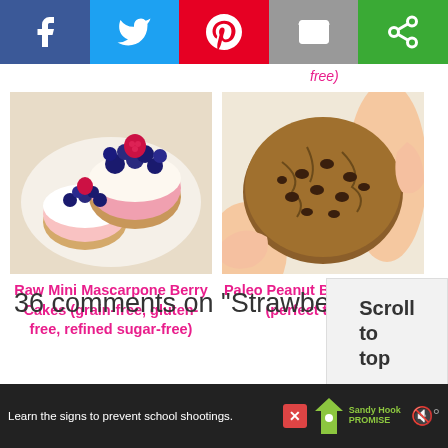[Figure (other): Social sharing bar with Facebook, Twitter, Pinterest, Email, and other share buttons]
free)
[Figure (photo): Raw Mini Mascarpone Berry Cakes topped with blueberries and raspberries on a white plate]
Raw Mini Mascarpone Berry Cakes (grain-free, gluten-free, refined sugar-free)
[Figure (photo): Paleo Peanut Butter Cookies with chocolate chips being held in hands]
Paleo Peanut Butter Cookies (perfect texture!)
36 comments on "Strawberry Cupcakes (grain-free, gluten-
[Figure (other): Scroll to top button]
[Figure (other): Advertisement bar: Learn the signs to prevent school shootings. Sandy Hook Promise logo.]